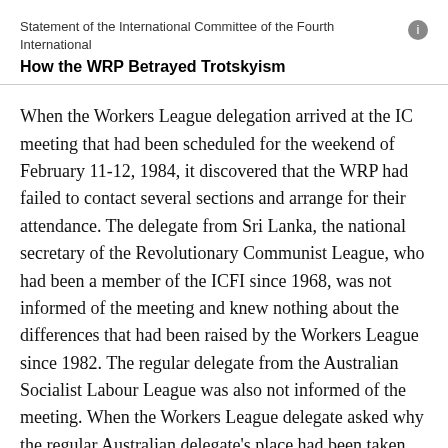Statement of the International Committee of the Fourth International
How the WRP Betrayed Trotskyism
When the Workers League delegation arrived at the IC meeting that had been scheduled for the weekend of February 11-12, 1984, it discovered that the WRP had failed to contact several sections and arrange for their attendance. The delegate from Sri Lanka, the national secretary of the Revolutionary Communist League, who had been a member of the ICFI since 1968, was not informed of the meeting and knew nothing about the differences that had been raised by the Workers League since 1982. The regular delegate from the Australian Socialist Labour League was also not informed of the meeting. When the Workers League delegate asked why the regular Australian delegate's place had been taken by an inexperienced member of the SLL who was working in the News Line office for training, this objection was brushed aside. The Peruvian delegate had also not been